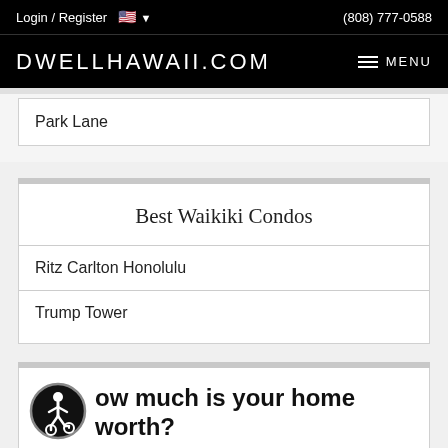Login / Register  (808) 777-0588
DWELLHAWAII.COM  MENU
Park Lane
Best Waikiki Condos
Ritz Carlton Honolulu
Trump Tower
How much is your home worth?